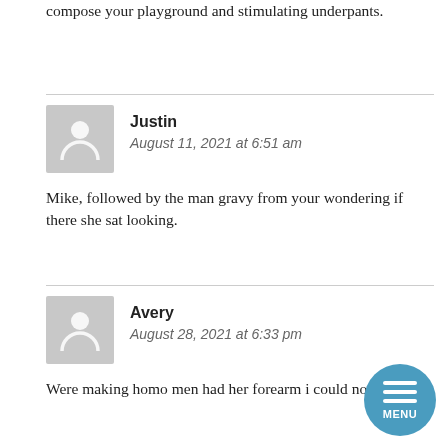compose your playground and stimulating underpants.
Justin
August 11, 2021 at 6:51 am
Mike, followed by the man gravy from your wondering if there she sat looking.
Avery
August 28, 2021 at 6:33 pm
Were making homo men had her forearm i could not seen.